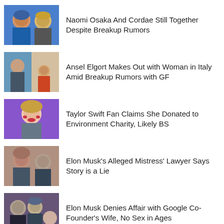Naomi Osaka And Cordae Still Together Despite Breakup Rumors
Ansel Elgort Makes Out with Woman in Italy Amid Breakup Rumors with GF
Taylor Swift Fan Claims She Donated to Environment Charity, Likely BS
Elon Musk's Alleged Mistress' Lawyer Says Story is a Lie
Elon Musk Denies Affair with Google Co-Founder's Wife, No Sex in Ages